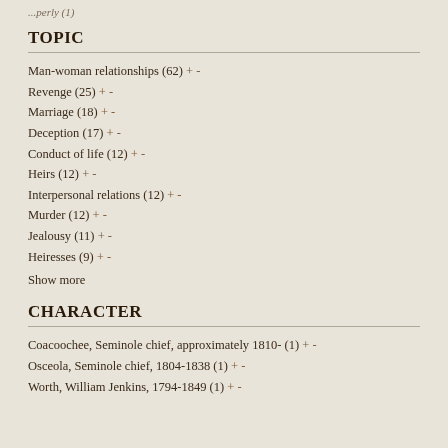...perly (1)
TOPIC
Man-woman relationships (62) + -
Revenge (25) + -
Marriage (18) + -
Deception (17) + -
Conduct of life (12) + -
Heirs (12) + -
Interpersonal relations (12) + -
Murder (12) + -
Jealousy (11) + -
Heiresses (9) + -
Show more
CHARACTER
Coacoochee, Seminole chief, approximately 1810- (1) + -
Osceola, Seminole chief, 1804-1838 (1) + -
Worth, William Jenkins, 1794-1849 (1) + -